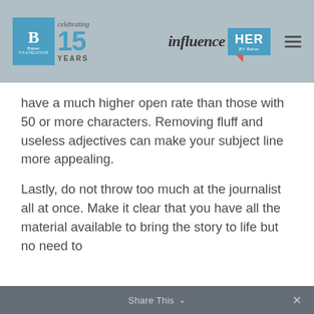[Figure (logo): Baker PR logo with 'celebrating 15 YEARS' badge and influenceHER by Baker logo with hamburger menu icon on grey header bar]
have a much higher open rate than those with 50 or more characters. Removing fluff and useless adjectives can make your subject line more appealing.
Lastly, do not throw too much at the journalist all at once. Make it clear that you have all the material available to bring the story to life but no need to
Share This ∨  ×